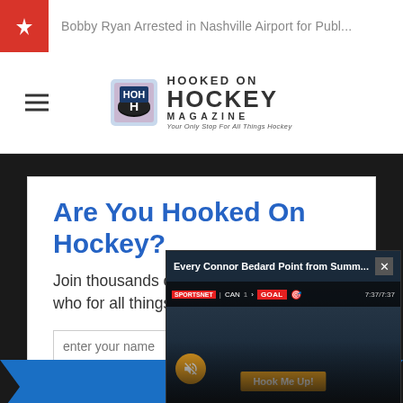Bobby Ryan Arrested in Nashville Airport for Publ...
[Figure (logo): Hooked On Hockey Magazine logo with hockey puck icon and text: HOOKED ON HOCKEY MAGAZINE - Your Only Stop For All Things Hockey]
Are You Hooked On Hockey?
Join thousands of fans just like yourself who for all things hockey by email!
enter your name
enter your email · We hate spam just as much as you.
[Figure (screenshot): Video popup overlay: Every Connor Bedard Point from Summ... with close button, score bar showing CAN GOAL, Hook Me Up! button, and mute button]
Hook Me Up!